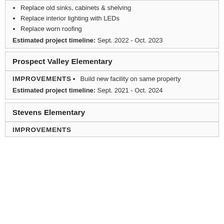Replace old sinks, cabinets & shelving
Replace interior lighting with LEDs
Replace worn roofing
Estimated project timeline: Sept. 2022 - Oct. 2023
Prospect Valley Elementary
IMPROVEMENTS
Build new facility on same property
Estimated project timeline: Sept. 2021 - Oct. 2024
Stevens Elementary
IMPROVEMENTS